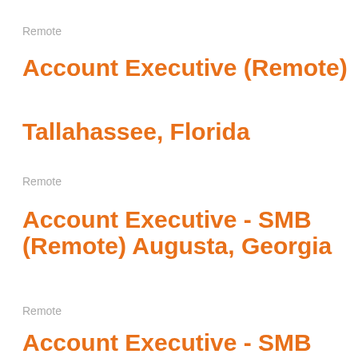Remote
Account Executive (Remote)
Tallahassee, Florida
Remote
Account Executive - SMB (Remote) Augusta, Georgia
Remote
Account Executive - SMB (Remote) Cincinnati, Ohio